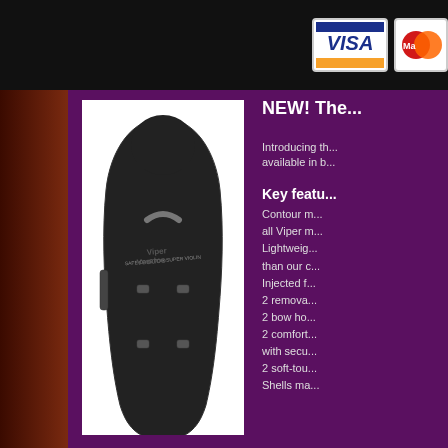[Figure (logo): VISA credit card logo in white box]
[Figure (logo): Mastercard logo in white box (partially visible)]
[Figure (photo): Black Viper violin case standing upright against white background, showing contour/teardrop shape with logo text]
NEW! The...
Introducing the... available in b...
Key featu...
Contour m... all Viper m...
Lightweight... than our c...
Injected f...
2 remova...
2 bow ho...
2 comfort... with secu...
2 soft-tou...
Shells ma...